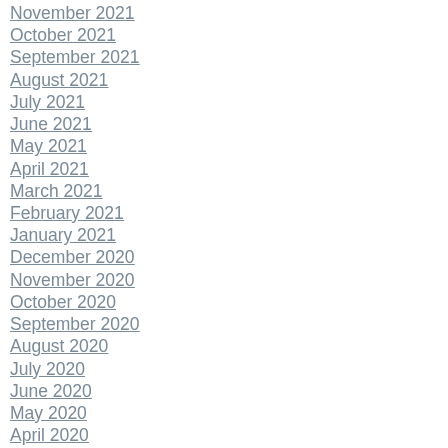November 2021
October 2021
September 2021
August 2021
July 2021
June 2021
May 2021
April 2021
March 2021
February 2021
January 2021
December 2020
November 2020
October 2020
September 2020
August 2020
July 2020
June 2020
May 2020
April 2020
March 2020
February 2020
January 2020
December 2019